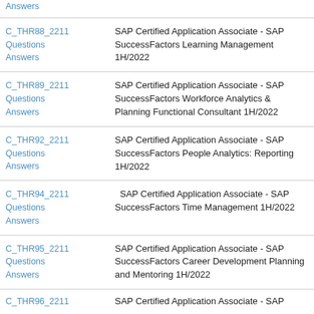Answers
C_THR88_2211 Questions Answers | SAP Certified Application Associate - SAP SuccessFactors Learning Management 1H/2022
C_THR89_2211 Questions Answers | SAP Certified Application Associate - SAP SuccessFactors Workforce Analytics & Planning Functional Consultant 1H/2022
C_THR92_2211 Questions Answers | SAP Certified Application Associate - SAP SuccessFactors People Analytics: Reporting 1H/2022
C_THR94_2211 Questions Answers | SAP Certified Application Associate - SAP SuccessFactors Time Management 1H/2022
C_THR95_2211 Questions Answers | SAP Certified Application Associate - SAP SuccessFactors Career Development Planning and Mentoring 1H/2022
C_THR96_2211 | SAP Certified Application Associate - SAP ...